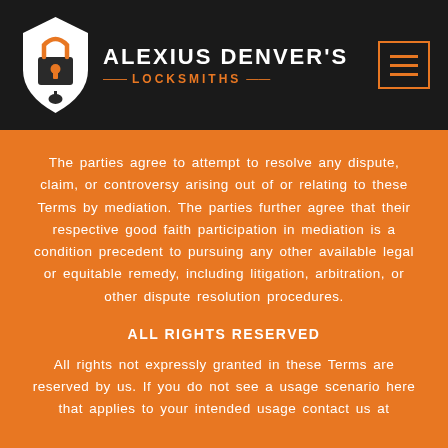[Figure (logo): Alexius Denver's Locksmiths logo with a padlock and key icon in white and orange, company name in white uppercase letters, and 'LOCKSMITHS' in orange]
The parties agree to attempt to resolve any dispute, claim, or controversy arising out of or relating to these Terms by mediation. The parties further agree that their respective good faith participation in mediation is a condition precedent to pursuing any other available legal or equitable remedy, including litigation, arbitration, or other dispute resolution procedures.
ALL RIGHTS RESERVED
All rights not expressly granted in these Terms are reserved by us. If you do not see a usage scenario here that applies to your intended usage contact us at